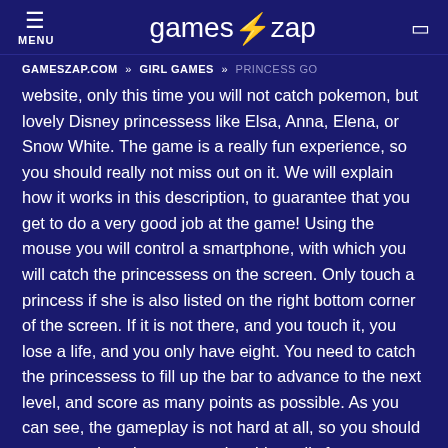☰ MENU   games⚡zap   🔍
GAMESZAP.COM » GIRL GAMES » PRINCESS GO
website, only this time you will not catch pokemon, but lovely Disney princessess like Elsa, Anna, Elena, or Snow White. The game is a really fun experience, so you should really not miss out on it. We will explain how it works in this description, to guarantee that you get to do a very good job at the game! Using the mouse you will control a smartphone, with which you will catch the princessess on the screen. Only touch a princess if she is also listed on the right bottom corner of the screen. If it is not there, and you touch it, you lose a life, and you only have eight. You need to catch the princessess to fill up the bar to advance to the next level, and score as many points as possible. As you can see, the gameplay is not hard at all, so you should waste no time, but start to play this really fun game right now, and have a lot of fun